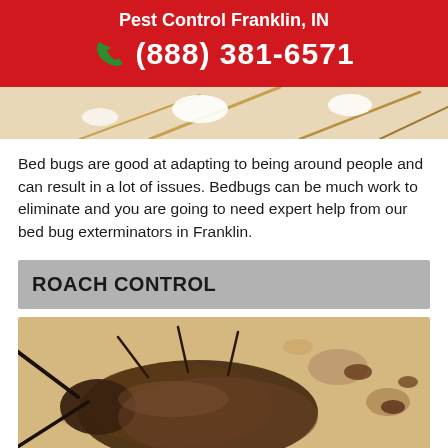Pest Control Franklin, IN
(888) 381-6571
[Figure (photo): Close-up photo of bed bug legs/antennae on light background]
Bed bugs are good at adapting to being around people and can result in a lot of issues. Bedbugs can be much work to eliminate and you are going to need expert help from our bed bug exterminators in Franklin.
ROACH CONTROL
[Figure (photo): Close-up photo of a cockroach with other insects on a dirty surface]